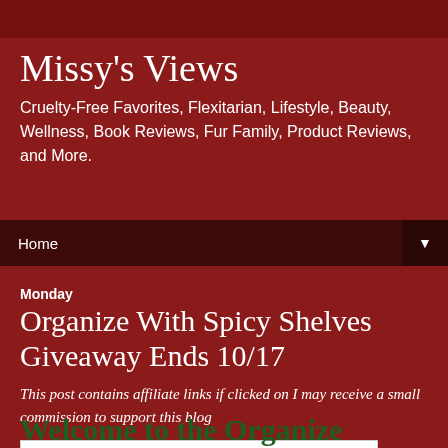Missy's Views
Cruelty-Free Favorites, Flexitarian, Lifestyle, Beauty, Wellness, Book Reviews, Fur Family, Product Reviews, and More.
Home ▼
Monday
Organize With Spicy Shelves Giveaway Ends 10/17
This post contains affiliate links if clicked on I may receive a small commission to support this blog
[Figure (photo): Image placeholder/broken image icon in a white box]
Welcome to the Organize